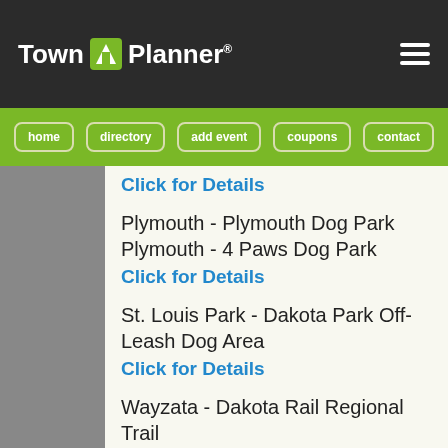Town Planner
home | directory | add event | coupons | contact
Click for Details
Plymouth - Plymouth Dog Park
Plymouth - 4 Paws Dog Park
Click for Details
St. Louis Park - Dakota Park Off-Leash Dog Area
Click for Details
Wayzata - Dakota Rail Regional Trail
Click for Details